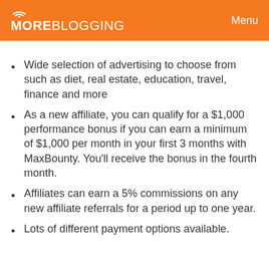MOREBLOGGING   Menu
Wide selection of advertising to choose from such as diet, real estate, education, travel, finance and more
As a new affiliate, you can qualify for a $1,000 performance bonus if you can earn a minimum of $1,000 per month in your first 3 months with MaxBounty. You'll receive the bonus in the fourth month.
Affiliates can earn a 5% commissions on any new affiliate referrals for a period up to one year.
Lots of different payment options available.